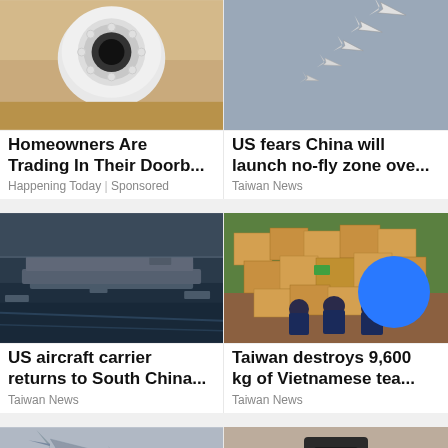[Figure (photo): Close-up of a white dome security camera on a beige wall]
[Figure (photo): Multiple military fighter jets flying in formation against a grey-blue sky]
Homeowners Are Trading In Their Doorb...
Happening Today | Sponsored
US fears China will launch no-fly zone ove...
Taiwan News
[Figure (photo): Aerial view of a US aircraft carrier at sea surrounded by escort ships]
[Figure (photo): Officers in uniforms crouching beside a large pile of cardboard boxes]
US aircraft carrier returns to South China...
Taiwan News
Taiwan destroys 9,600 kg of Vietnamese tea...
Taiwan News
[Figure (photo): Two fighter jets on a grey-blue background (partially visible, bottom of page)]
[Figure (photo): Close-up of a security camera on a textured wall (partially visible, bottom of page)]